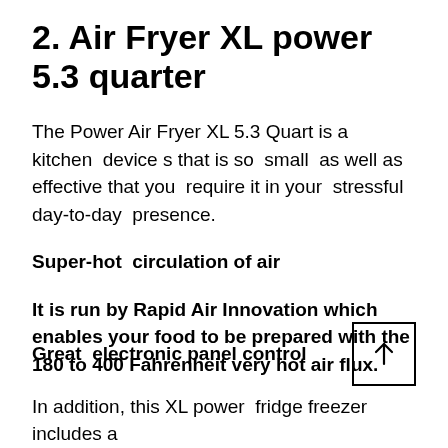2. Air Fryer XL power 5.3 quarter
The Power Air Fryer XL 5.3 Quart is a kitchen devices that is so small as well as effective that you require it in your stressful day-to-day presence.
Super-hot circulation of air
It is run by Rapid Air Innovation which enables your food to be prepared with the 180 to 400 Fahrenheit very hot air flux.
Great electronic panel control
In addition, this XL power fridge freezer includes a